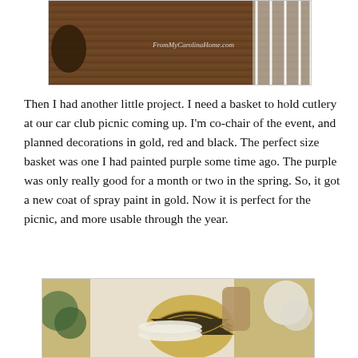[Figure (photo): Photo of a wooden deck with brown planks and white railing, with watermark text 'FromMyCarolinaHome.com']
Then I had another little project. I need a basket to hold cutlery at our car club picnic coming up. I'm co-chair of the event, and planned decorations in gold, red and black. The perfect size basket was one I had painted purple some time ago. The purple was only really good for a month or two in the spring. So, it got a new coat of spray paint in gold. Now it is perfect for the picnic, and more usable through the year.
[Figure (photo): Photo of a gold painted basket with plates and a ceramic vase on a white surface]